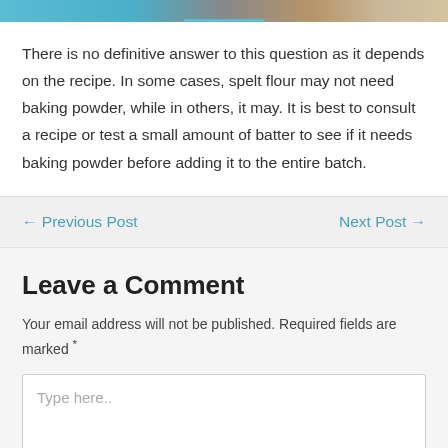[Figure (photo): Partial image strip at the top of the page showing food-related imagery in blue and warm tones]
There is no definitive answer to this question as it depends on the recipe. In some cases, spelt flour may not need baking powder, while in others, it may. It is best to consult a recipe or test a small amount of batter to see if it needs baking powder before adding it to the entire batch.
← Previous Post   Next Post →
Leave a Comment
Your email address will not be published. Required fields are marked *
Type here..